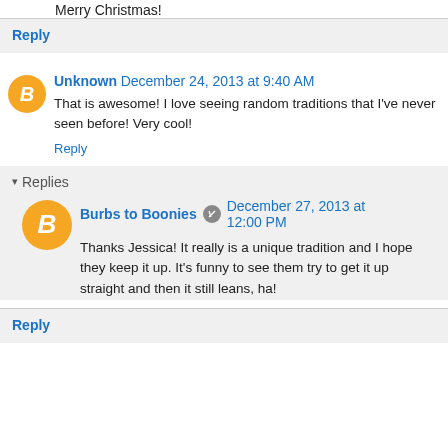Merry Christmas!
Reply
Unknown  December 24, 2013 at 9:40 AM
That is awesome! I love seeing random traditions that I've never seen before! Very cool!
Reply
Replies
Burbs to Boonies  December 27, 2013 at 12:00 PM
Thanks Jessica! It really is a unique tradition and I hope they keep it up. It's funny to see them try to get it up straight and then it still leans, ha!
Reply